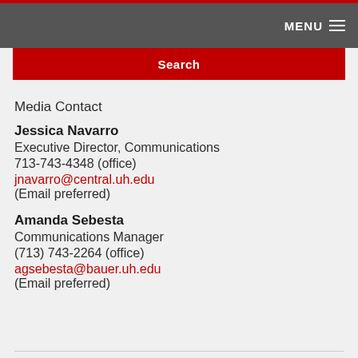MENU
Search
Media Contact
Jessica Navarro
Executive Director, Communications
713-743-4348 (office)
jnavarro@central.uh.edu
(Email preferred)
Amanda Sebesta
Communications Manager
(713) 743-2264 (office)
agsebesta@bauer.uh.edu
(Email preferred)